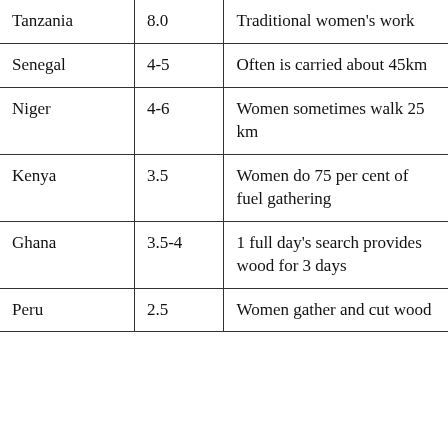| Tanzania | 8.0 | Traditional women's work |
| Senegal | 4-5 | Often is carried about 45km |
| Niger | 4-6 | Women sometimes walk 25 km |
| Kenya | 3.5 | Women do 75 per cent of fuel gathering |
| Ghana | 3.5-4 | 1 full day's search provides wood for 3 days |
| Peru | 2.5 | Women gather and cut wood |